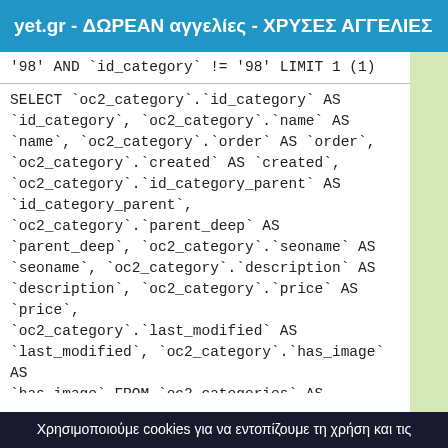yet.gr - ΔΩΡΕΑΝ αγγελίες - ΧΡΥΣΕΣ ΑΓΓΕΛΙΕΣ
'98' AND `id_category` != '98' LIMIT 1 (1)
SELECT `oc2_category`.`id_category` AS `id_category`, `oc2_category`.`name` AS `name`, `oc2_category`.`order` AS `order`, `oc2_category`.`created` AS `created`, `oc2_category`.`id_category_parent` AS `id_category_parent`, `oc2_category`.`parent_deep` AS `parent_deep`, `oc2_category`.`seoname` AS `seoname`, `oc2_category`.`description` AS `description`, `oc2_category`.`price` AS `price`, `oc2_category`.`last_modified` AS `last_modified`, `oc2_category`.`has_image` AS `has_image` FROM `oc2_categories` AS `oc2_category` WHERE `id_category_parent` = '98' AND `id_category` != '98' LIMIT 1 (1)
Χρησιμοποιούμε cookies για να εντοπίζουμε τη χρήση και τις